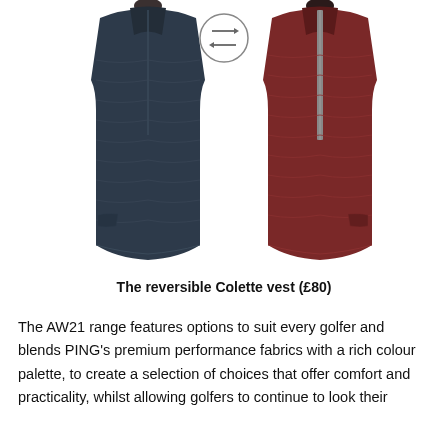[Figure (photo): Two reversible quilted vests shown side by side. Left vest is dark navy/grey with a subtle pattern, worn on a mannequin. A circular icon with two horizontal arrows (indicating reversibility) is between them. Right vest is dark red/burgundy with a grey zip, worn on a mannequin.]
The reversible Colette vest (£80)
The AW21 range features options to suit every golfer and blends PING's premium performance fabrics with a rich colour palette, to create a selection of choices that offer comfort and practicality, whilst allowing golfers to continue to look their back...